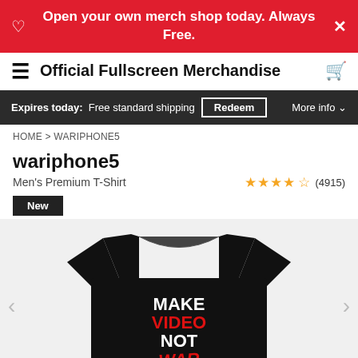Open your own merch shop today. Always Free.
Official Fullscreen Merchandise
Expires today: Free standard shipping  Redeem  More info
HOME > WARIPHONE5
wariphone5
Men's Premium T-Shirt
★★★★½ (4915)
New
[Figure (photo): Black men's premium t-shirt with 'MAKE VIDEO NOT WAR' graphic print in white and red]